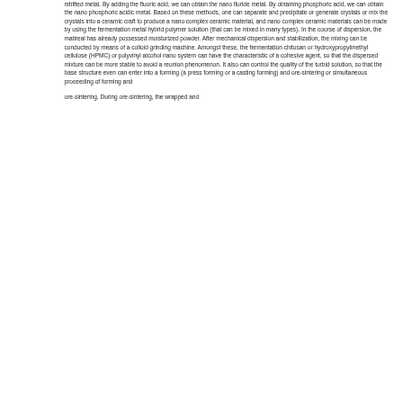nitrified metal. By adding the fluoric acid, we can obtain the nano fluride metal. By obtaining phosphoric acid, we can obtain the nano phosphoric acidic metal. Based on these methods, one can separate and precipitate or generate crystals or mix the crystals into a ceramic craft to produce a nano complex ceramic material, and nano complex ceramic materials can be made by using the fermentation metal hybrid polymer solution (that can be mixed in many types). In the course of dispersion, the matireal has already possessed moisturized powder. After mechanical dispersion and stabilization, the mixing can be conducted by means of a colloid grinding machine. Amongst these, the fermentation chitosan or hydroxypropylmethyl cellulose (HPMC) or polyvinyl alcohol nano system can have the characteristic of a cohesive agent, so that the dispersed mixture can be more stable to avoid a reunion phenomenon. It also can control the quality of the turbid solution, so that the base structure even can enter into a forming (a press forming or a casting forming) and ore-sintering or simultaneous proceeding of forming and
ore-sintering. During ore-sintering, the wrapped and